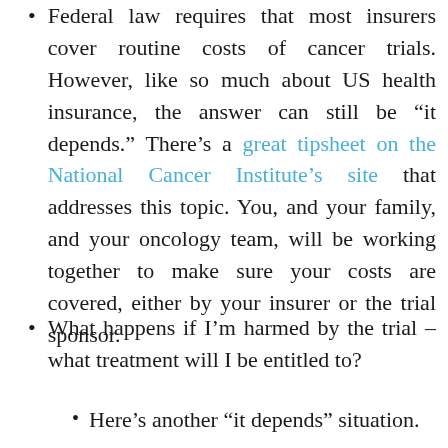Federal law requires that most insurers cover routine costs of cancer trials. However, like so much about US health insurance, the answer can still be “it depends.” There’s a great tipsheet on the National Cancer Institute’s site that addresses this topic. You, and your family, and your oncology team, will be working together to make sure your costs are covered, either by your insurer or the trial sponsor.
What happens if I’m harmed by the trial – what treatment will I be entitled to?
Here’s another “it depends” situation.